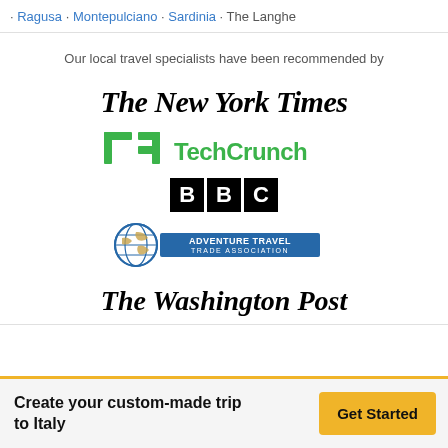· Ragusa · Montepulciano · Sardinia · The Langhe
Our local travel specialists have been recommended by
[Figure (logo): The New York Times logo in black serif blackletter font]
[Figure (logo): TechCrunch logo with green TC icon and green TechCrunch text]
[Figure (logo): BBC logo with three white letters on black boxes]
[Figure (logo): Adventure Travel Trade Association logo with globe icon and blue text banner]
[Figure (logo): The Washington Post logo in black serif italic blackletter font]
Create your custom-made trip to Italy
Get Started